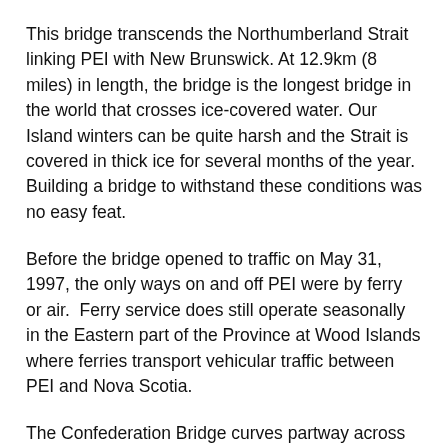This bridge transcends the Northumberland Strait linking PEI with New Brunswick. At 12.9km (8 miles) in length, the bridge is the longest bridge in the world that crosses ice-covered water. Our Island winters can be quite harsh and the Strait is covered in thick ice for several months of the year. Building a bridge to withstand these conditions was no easy feat.
Before the bridge opened to traffic on May 31, 1997, the only ways on and off PEI were by ferry or air.  Ferry service does still operate seasonally in the Eastern part of the Province at Wood Islands where ferries transport vehicular traffic between PEI and Nova Scotia.
The Confederation Bridge curves partway across the Strait and has a high navigational span that allows large ships to pass under the bridge.  It’s pretty cool to see the large cruise ships going under the bridge!
Because the Confederation Bridge is a significant part of PEI...